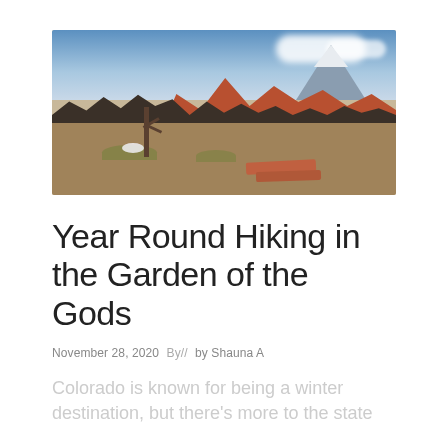[Figure (photo): Landscape photo of Garden of the Gods in Colorado showing red rock formations, a bare tree, brown scrubby ground, a dark ridge of rocks, mountains and a snow-capped peak in the background, under a partly cloudy blue sky. Two flat red stone slabs are visible in the foreground right.]
Year Round Hiking in the Garden of the Gods
November 28, 2020   By//  by Shauna A
Colorado is known for being a winter destination, but there's more to the state